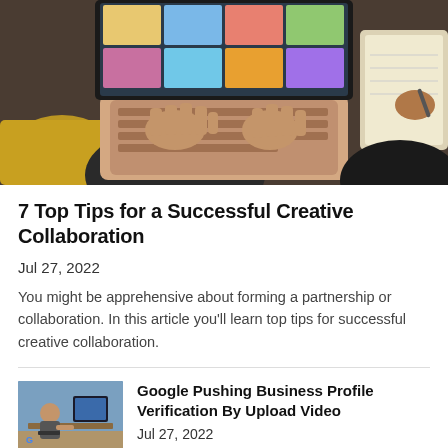[Figure (photo): Overhead view of two people working at a laptop with a colorful screen, one person typing, another holding a notebook with a pen. A yellow sleeve is visible on the left.]
7 Top Tips for a Successful Creative Collaboration
Jul 27, 2022
You might be apprehensive about forming a partnership or collaboration. In this article you'll learn top tips for successful creative collaboration.
[Figure (photo): Small thumbnail image showing a person at a desk with a Google logo visible, representing an article about Google Business Profile verification.]
Google Pushing Business Profile Verification By Upload Video
Jul 27, 2022